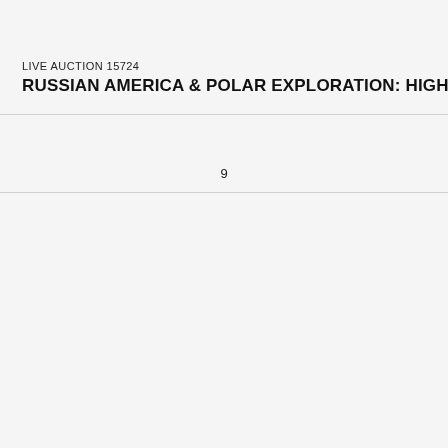LIVE AUCTION 15724
RUSSIAN AMERICA & POLAR EXPLORATION: HIGHLIGHTS FR
9